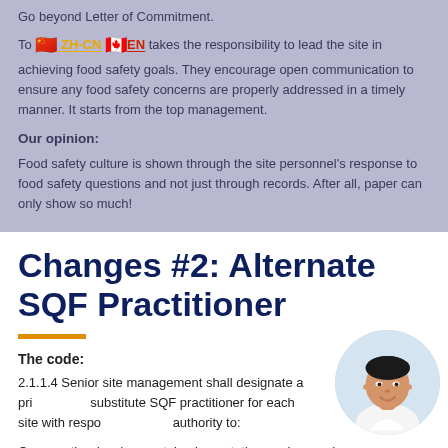Go beyond Letter of Commitment.
Top management takes the responsibility to lead the site in achieving food safety goals. They encourage open communication to ensure any food safety concerns are properly addressed in a timely manner. It starts from the top management.
Our opinion:
Food safety culture is shown through the site personnel's response to food safety questions and not just through records. After all, paper can only show so much!
Changes #2: Alternate SQF Practitioner
The code:
2.1.1.4 Senior site management shall designate a primary and substitute SQF practitioner for each site with responsibility and authority to:
Oversee the development, implementation, review, and maintenance of the SQF System;
Take appropriate action to ensure the integrity of the SQF
[Figure (photo): Circular portrait photo of a woman in professional attire, smiling]